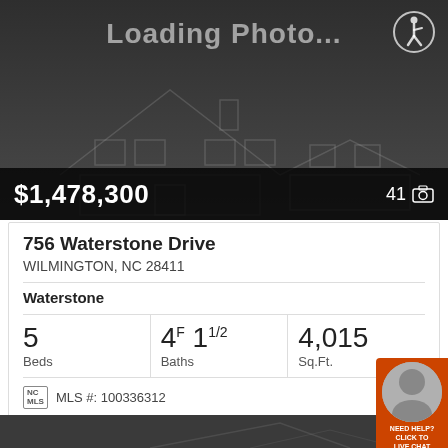[Figure (photo): Loading photo placeholder for real estate listing — dark grey background with faint house outline wireframe and 'Loading Photo...' text overlay, accessibility icon in top right, price bar at bottom]
$1,478,300
41 [camera icon]
756 Waterstone Drive
WILMINGTON, NC 28411
Waterstone
5 Beds
4F 1 1/2 Baths
4,015 Sq.Ft.
MLS #: 100336312
[Figure (photo): Bottom partial dark grey area with faint house roofline outline, partially visible]